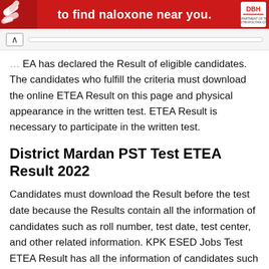[Figure (other): Red banner advertisement with text 'to find naloxone near you.' and a logo on the right, with pill/medicine images on the left]
navigation bar with back arrow and URL bar
ETEA has declared the Result of eligible candidates. The candidates who fulfill the criteria must download the online ETEA Result on this page and physical appearance in the written test. ETEA Result is necessary to participate in the written test.
District Mardan PST Test ETEA Result 2022
Candidates must download the Result before the test date because the Results contain all the information of candidates such as roll number, test date, test center, and other related information. KPK ESED Jobs Test ETEA Result has all the information of candidates such as candidate name, roll number, father name, test date, syllabus test venue, and more. Only those candidates are eligible for the written test who